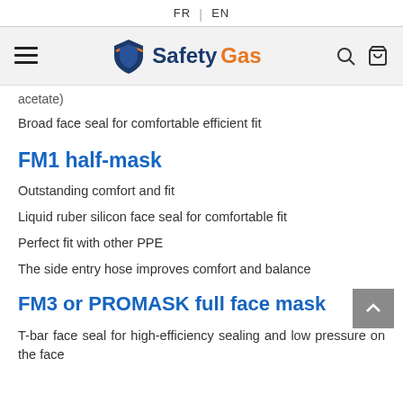FR | EN
[Figure (logo): SafetyGas logo with shield icon in blue/orange, hamburger menu icon on left, search and cart icons on right]
acetate)
Broad face seal for comfortable efficient fit
FM1 half-mask
Outstanding comfort and fit
Liquid ruber silicon face seal for comfortable fit
Perfect fit with other PPE
The side entry hose improves comfort and balance
FM3 or PROMASK full face mask
T-bar face seal for high-efficiency sealing and low pressure on the face